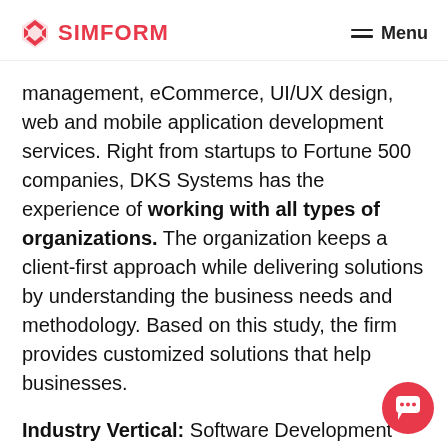SIMFORM | Menu
management, eCommerce, UI/UX design, web and mobile application development services. Right from startups to Fortune 500 companies, DKS Systems has the experience of working with all types of organizations. The organization keeps a client-first approach while delivering solutions by understanding the business needs and methodology. Based on this study, the firm provides customized solutions that help businesses.
Industry Vertical: Software Development
Founded in: 2001